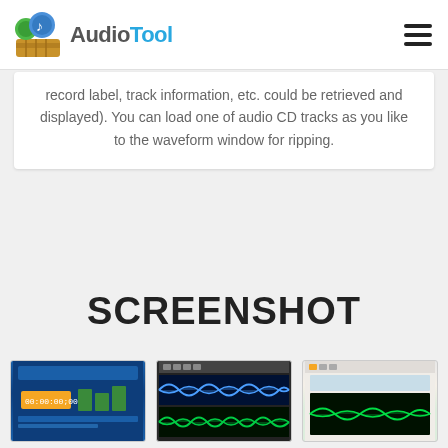AudioTool
record label, track information, etc. could be retrieved and displayed). You can load one of audio CD tracks as you like to the waveform window for ripping.
SCREENSHOT
[Figure (screenshot): Three screenshot thumbnails of the AudioTool application interface showing waveform and audio editing views]